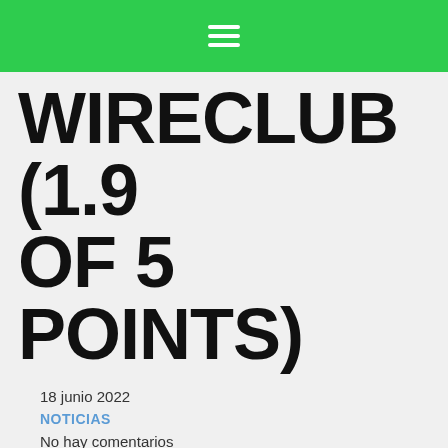≡
WIRECLUB (1.9 OF 5 POINTS)
18 junio 2022
NOTICIAS
No hay comentarios
Avanfuer
Join free online boards and speak to friends, meet brand brand new people and much more. Pick